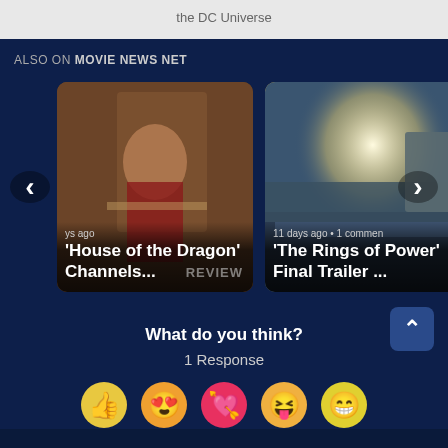the DC Universe
ALSO ON MOVIE NEWS NET
[Figure (screenshot): Card showing House of the Dragon with woman in red dress and dragon background, labeled 'ys ago', title: 'House of the Dragon' Channels... REVIEW]
[Figure (screenshot): Card showing The Rings of Power with scenic medieval city and bright sun, labeled '11 days ago • 1 comment', title: 'The Rings of Power' Final Trailer ...]
What do you think?
1 Response
[Figure (illustration): Row of emoji reaction icons at the bottom]